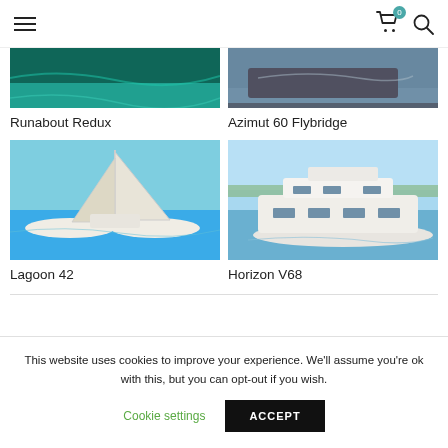Navigation header with hamburger menu, cart (0), and search icons
[Figure (photo): Cropped aerial view of boat on teal/turquoise water - Runabout Redux]
[Figure (photo): Cropped aerial view of Azimut 60 Flybridge motorboat on dark water]
Runabout Redux
Azimut 60 Flybridge
[Figure (photo): Lagoon 42 catamaran sailboat on turquoise water with sails raised]
[Figure (photo): Horizon V68 large white motor yacht on blue water]
Lagoon 42
Horizon V68
This website uses cookies to improve your experience. We'll assume you're ok with this, but you can opt-out if you wish.
Cookie settings
ACCEPT